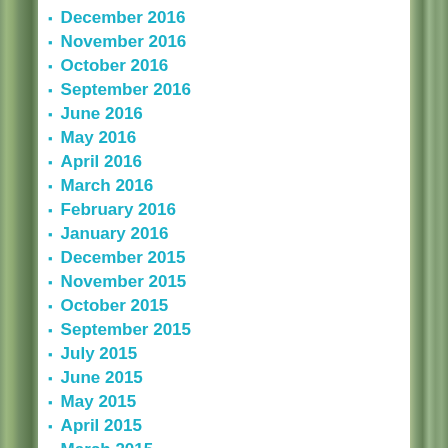December 2016
November 2016
October 2016
September 2016
June 2016
May 2016
April 2016
March 2016
February 2016
January 2016
December 2015
November 2015
October 2015
September 2015
July 2015
June 2015
May 2015
April 2015
March 2015
February 2015
January 2015
December 2014